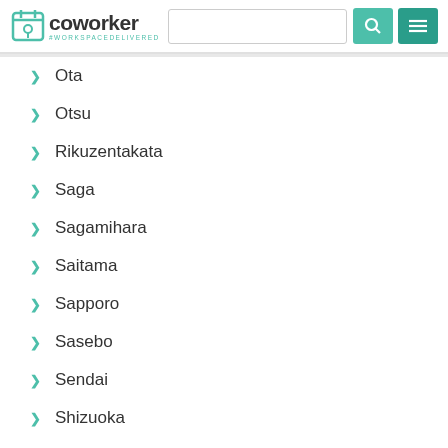Coworker - #WORKSPACEDELIVERED
Ota
Otsu
Rikuzentakata
Saga
Sagamihara
Saitama
Sapporo
Sasebo
Sendai
Shizuoka
Shunan
Takamatsu
Takasaki
Takayama
Tokyo